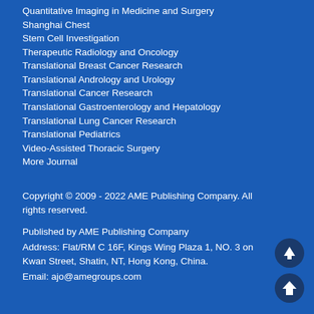Quantitative Imaging in Medicine and Surgery
Shanghai Chest
Stem Cell Investigation
Therapeutic Radiology and Oncology
Translational Breast Cancer Research
Translational Andrology and Urology
Translational Cancer Research
Translational Gastroenterology and Hepatology
Translational Lung Cancer Research
Translational Pediatrics
Video-Assisted Thoracic Surgery
More Journal
Copyright © 2009 - 2022 AME Publishing Company. All rights reserved.
Published by AME Publishing Company
Address: Flat/RM C 16F, Kings Wing Plaza 1, NO. 3 on Kwan Street, Shatin, NT, Hong Kong, China.
Email: ajo@amegroups.com